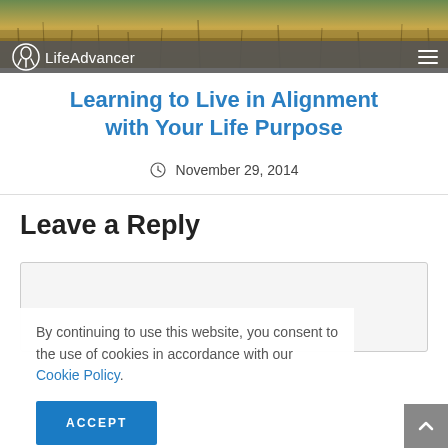[Figure (photo): Header image showing wheat or grass field with brownish-golden tones]
LifeAdvancer
Learning to Live in Alignment with Your Life Purpose
November 29, 2014
Leave a Reply
Your comment here...
By continuing to use this website, you consent to the use of cookies in accordance with our Cookie Policy.
ACCEPT